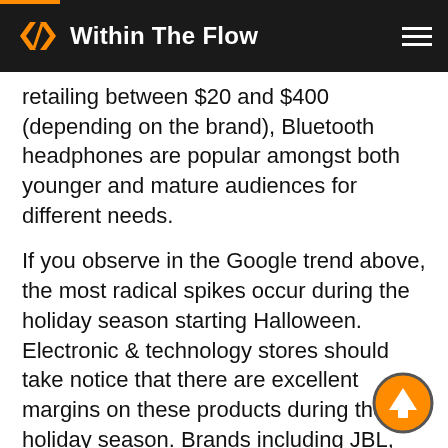Within The Flow
retailing between $20 and $400 (depending on the brand), Bluetooth headphones are popular amongst both younger and mature audiences for different needs.
If you observe in the Google trend above, the most radical spikes occur during the holiday season starting Halloween. Electronic & technology stores should take notice that there are excellent margins on these products during the holiday season. Brands including JBL, Shure, Skull Candy, Sony, Sennheiser and many others lower prices during Black Friday & Cyber Monday.